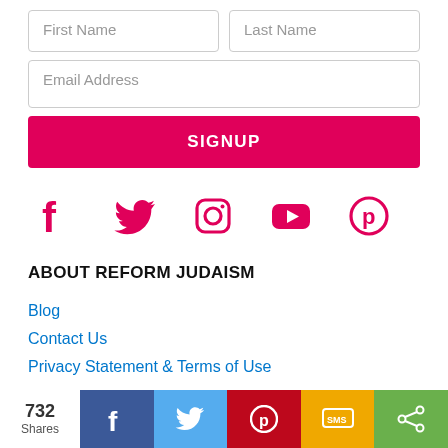[Figure (screenshot): Web form with First Name and Last Name input fields side by side]
[Figure (screenshot): Email Address input field]
[Figure (screenshot): SIGNUP button in dark pink/magenta]
[Figure (infographic): Social media icons: Facebook, Twitter, Instagram, YouTube, Pinterest in pink/magenta]
ABOUT REFORM JUDAISM
Blog
Contact Us
Privacy Statement & Terms of Use
OUR OTHER SITES
[Figure (infographic): Share bar at bottom: 732 Shares, Facebook, Twitter, Pinterest, SMS, Share more buttons]